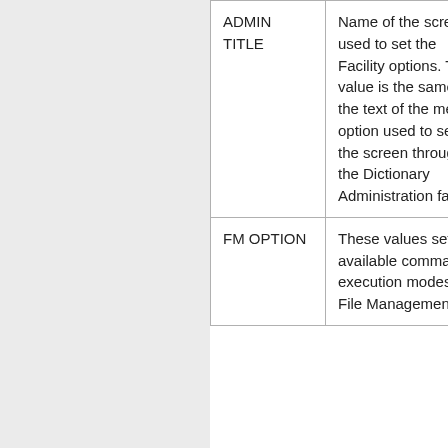| ADMIN TITLE | Name of the screen used to set the Facility options. This value is the same as the text of the menu option used to select the screen through the Dictionary Administration facility. |
| FM OPTION | These values set the available command execution modes for File Management: |